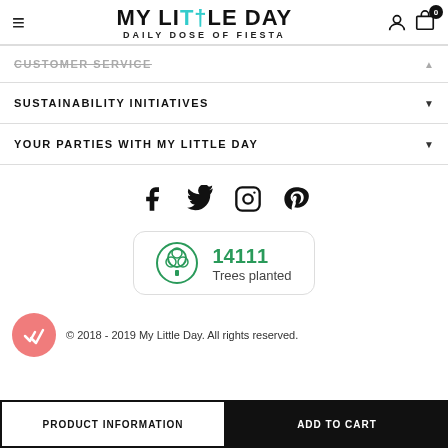MY LITTLE DAY — DAILY DOSE OF FIESTA
CUSTOMER SERVICE
SUSTAINABILITY INITIATIVES
YOUR PARTIES WITH MY LITTLE DAY
[Figure (other): Social media icons: Facebook, Twitter, Instagram, Pinterest]
[Figure (infographic): Green tree icon badge showing 14111 Trees planted]
[Figure (other): Pink circle with double checkmark icon]
© 2018 - 2019 My Little Day. All rights reserved.
PRODUCT INFORMATION
ADD TO CART